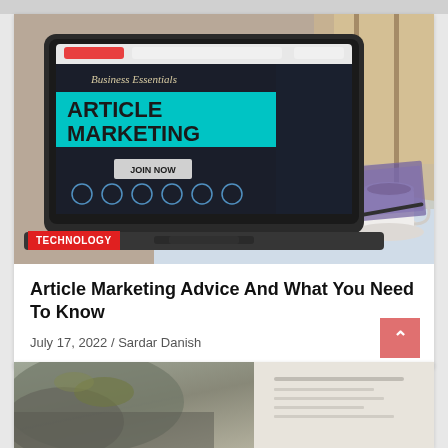[Figure (photo): Laptop computer displaying an 'Article Marketing' website with 'Business Essentials' heading, teal background, JOIN NOW button, and navigation icons. A coffee cup and notebook are visible in the background on a desk.]
TECHNOLOGY
Article Marketing Advice And What You Need To Know
July 17, 2022 / Sardar Danish
[Figure (photo): Partial view of a second article card showing a nature or outdoor photograph (partially visible at bottom of page).]